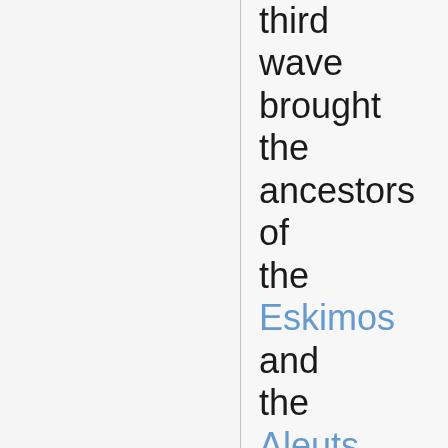third wave brought the ancestors of the Eskimos and the Aleuts. They may have come by